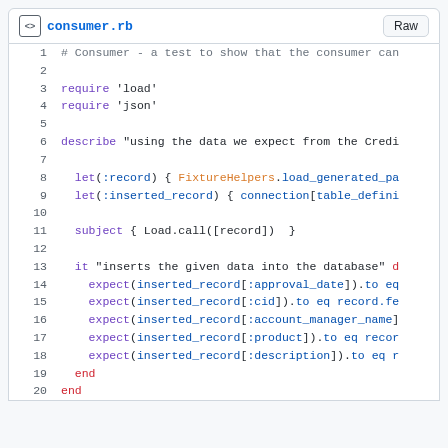consumer.rb  Raw
[Figure (screenshot): Ruby source code file viewer showing consumer.rb with syntax highlighting, lines 1-20, including require statements, describe block, let statements, subject block, and it block with expect statements.]